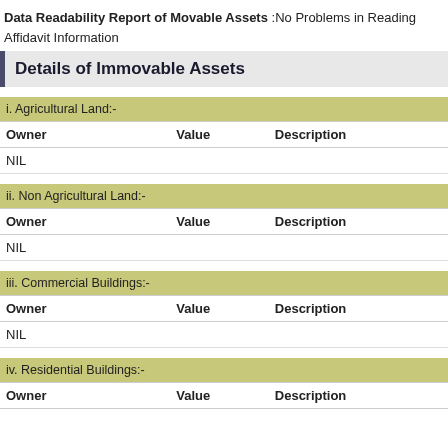Data Readability Report of Movable Assets :No Problems in Reading Affidavit Information
Details of Immovable Assets
i. Agricultural Land:-
| Owner | Value | Description |
| --- | --- | --- |
| NIL |  |  |
ii. Non Agricultural Land:-
| Owner | Value | Description |
| --- | --- | --- |
| NIL |  |  |
iii. Commercial Buildings:-
| Owner | Value | Description |
| --- | --- | --- |
| NIL |  |  |
iv. Residential Buildings:-
| Owner | Value | Description |
| --- | --- | --- |